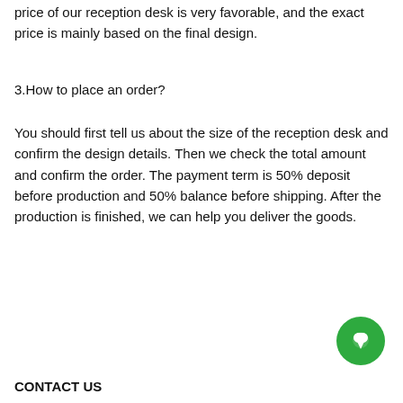price of our reception desk is very favorable, and the exact price is mainly based on the final design.
3.How to place an order?
You should first tell us about the size of the reception desk and confirm the design details. Then we check the total amount and confirm the order. The payment term is 50% deposit before production and 50% balance before shipping. After the production is finished, we can help you deliver the goods.
Search site
CONTACT US